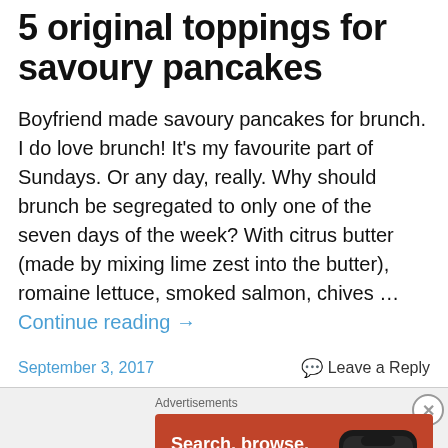5 original toppings for savoury pancakes
Boyfriend made savoury pancakes for brunch. I do love brunch! It's my favourite part of Sundays. Or any day, really. Why should brunch be segregated to only one of the seven days of the week? With citrus butter (made by mixing lime zest into the butter), romaine lettuce, smoked salmon, chives … Continue reading →
September 3, 2017    Leave a Reply
[Figure (infographic): DuckDuckGo advertisement banner with orange background showing 'Search, browse, and email with more privacy. All in One Free App' text and a phone mockup with DuckDuckGo logo.]